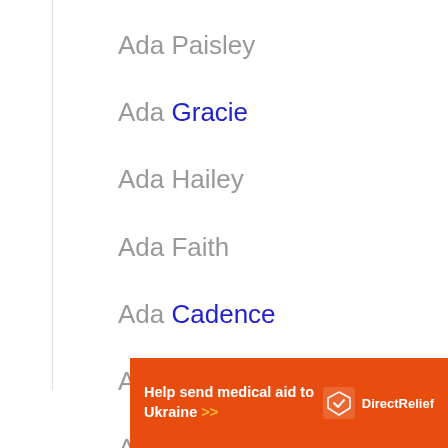Ada Paisley
Ada Gracie
Ada Hailey
Ada Faith
Ada Cadence
Ada Bailey
Ada Navy
[Figure (infographic): Orange advertisement banner: 'Help send medical aid to Ukraine >>' with Direct Relief logo on the right]